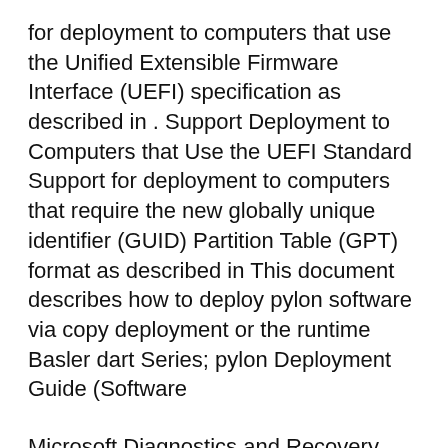for deployment to computers that use the Unified Extensible Firmware Interface (UEFI) specification as described in . Support Deployment to Computers that Use the UEFI Standard Support for deployment to computers that require the new globally unique identifier (GUID) Partition Table (GPT) format as described in This document describes how to deploy pylon software via copy deployment or the runtime Basler dart Series; pylon Deployment Guide (Software
Microsoft Diagnostics and Recovery Toolset (DaRT) 10 requires thorough planning before you deploy it or use its features. If you are new to this product